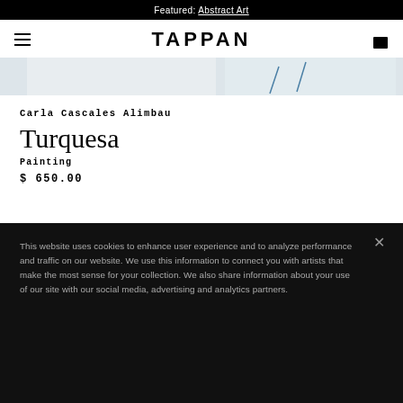Featured: Abstract Art
TAPPAN
[Figure (photo): Partial view of a painting with blue brushstroke lines on light background]
Carla Cascales Alimbau
Turquesa
Painting
$ 650.00
This website uses cookies to enhance user experience and to analyze performance and traffic on our website. We use this information to connect you with artists that make the most sense for your collection. We also share information about your use of our site with our social media, advertising and analytics partners.